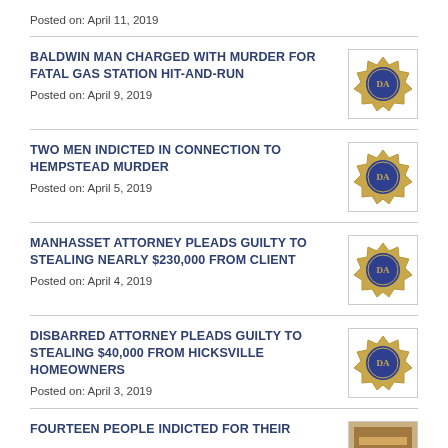Posted on: April 11, 2019
BALDWIN MAN CHARGED WITH MURDER FOR FATAL GAS STATION HIT-AND-RUN
Posted on: April 9, 2019
TWO MEN INDICTED IN CONNECTION TO HEMPSTEAD MURDER
Posted on: April 5, 2019
MANHASSET ATTORNEY PLEADS GUILTY TO STEALING NEARLY $230,000 FROM CLIENT
Posted on: April 4, 2019
DISBARRED ATTORNEY PLEADS GUILTY TO STEALING $40,000 FROM HICKSVILLE HOMEOWNERS
Posted on: April 3, 2019
FOURTEEN PEOPLE INDICTED FOR THEIR